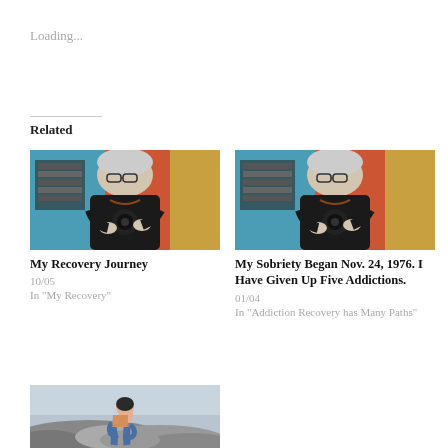Loading...
Related
[Figure (photo): Woman in black top taking mirror selfie with camera, colorful blue and orange background, wearing glasses and necklace]
My Recovery Journey
10/05
In "My Recovery"
[Figure (photo): Woman in black top taking mirror selfie with camera, colorful blue and orange background, wearing glasses and necklace]
My Sobriety Began Nov. 24, 1976. I Have Given Up Five Addictions.
01/04
In "Addiction Recovery has Many Paths"
[Figure (photo): Person sitting hunched over on rocky ground outdoors]